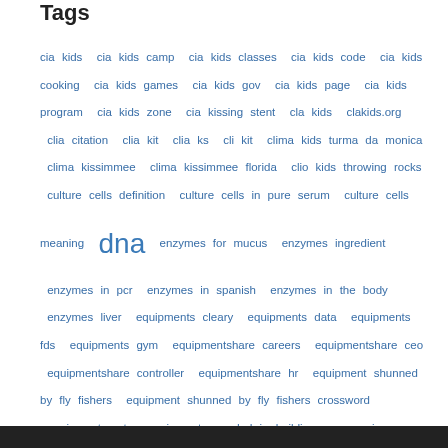Tags
cia kids  cia kids camp  cia kids classes  cia kids code  cia kids cooking  cia kids games  cia kids gov  cia kids page  cia kids program  cia kids zone  cia kissing stent  cla kids  clakids.org  clia citation  clia kit  clia ks  cli kit  clima kids turma da monica  clima kissimmee  clima kissimmee florida  clio kids throwing rocks  culture cells definition  culture cells in pure serum  culture cells meaning  dna  enzymes for mucus  enzymes ingredient  enzymes in pcr  enzymes in spanish  enzymes in the body  enzymes liver  equipments cleary  equipments data  equipments fds  equipments gym  equipmentshare careers  equipmentshare ceo  equipmentshare controller  equipmentshare hr  equipment shunned by fly fishers  equipment shunned by fly fishers crossword  equipments mtg  equipments needed in building an aquarium  equipment synonym  equipment trader